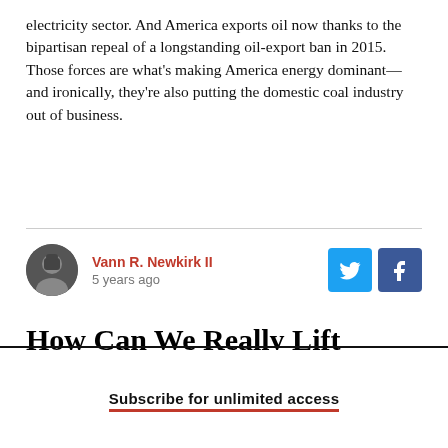electricity sector. And America exports oil now thanks to the bipartisan repeal of a longstanding oil-export ban in 2015. Those forces are what's making America energy dominant—and ironically, they're also putting the domestic coal industry out of business.
Vann R. Newkirk II
5 years ago
How Can We Really Lift Citizens 'From Welfare to Work?'
Subscribe for unlimited access